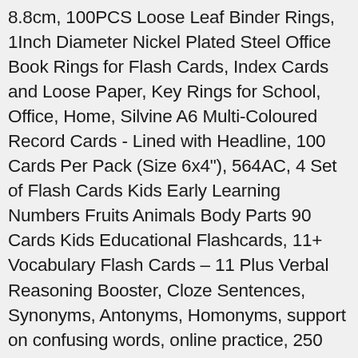8.8cm, 100PCS Loose Leaf Binder Rings, 1Inch Diameter Nickel Plated Steel Office Book Rings for Flash Cards, Index Cards and Loose Paper, Key Rings for School, Office, Home, Silvine A6 Multi-Coloured Record Cards - Lined with Headline, 100 Cards Per Pack (Size 6x4"), 564AC, 4 Set of Flash Cards Kids Early Learning Numbers Fruits Animals Body Parts 90 Cards Kids Educational Flashcards, 11+ Vocabulary Flash Cards – 11 Plus Verbal Reasoning Booster, Cloze Sentences, Synonyms, Antonyms, Homonyms, support on confusing words, online practice, 250 Words, BXT Creative Stationary Pack of 2 Binder Ring Memo Scratch Pad Blank Page Flash Cards Greeting Cards Study Cards Message Pads Quick Notes for Reminding Leaving Message, SUNSHINETEK 300 Pieces Hard Kraft Paper Study Cards Easy Flip Flash Card Unruled Colored Pages with Binder Ring (White, 2.2 * 3.5Inches, Each 50 Sheets), JJQHYC Study Revision Cards Mini with Binder Ring Total 400 Sheets 8 Colors